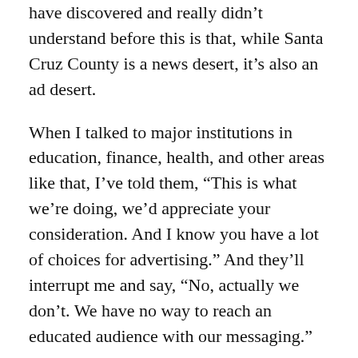have discovered and really didn't understand before this is that, while Santa Cruz County is a news desert, it's also an ad desert.
When I talked to major institutions in education, finance, health, and other areas like that, I've told them, “This is what we’re doing, we’d appreciate your consideration. And I know you have a lot of choices for advertising.” And they’ll interrupt me and say, “No, actually we don’t. We have no way to reach an educated audience with our messaging.”
So while advertising generates, we anticipate, a third to 40 percent of revenue over time, we’re kind of surprised by the fact that we have what should be premium advertisers who don’t feel